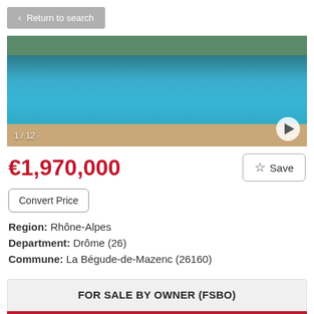< Return to search
[Figure (photo): Outdoor swimming pool with blue water, terrace surround, and greenery in background. Counter shows 1/12 with a play button.]
€1,970,000
Save
Convert Price
Region: Rhône-Alpes
Department: Drôme (26)
Commune: La Bégude-de-Mazenc (26160)
FOR SALE BY OWNER (FSBO)
Make an Enquiry